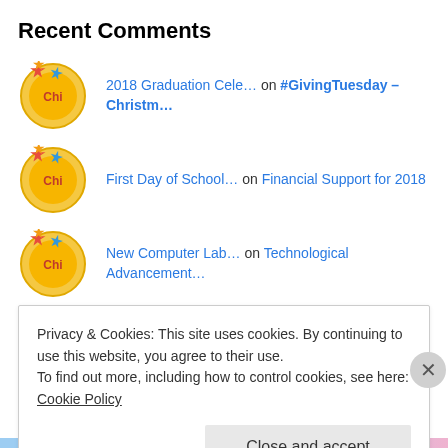Recent Comments
2018 Graduation Cele… on #GivingTuesday – Christm…
First Day of School… on Financial Support for 2018
New Computer Lab… on Technological Advancement…
Archives
Privacy & Cookies: This site uses cookies. By continuing to use this website, you agree to their use. To find out more, including how to control cookies, see here: Cookie Policy
Close and accept